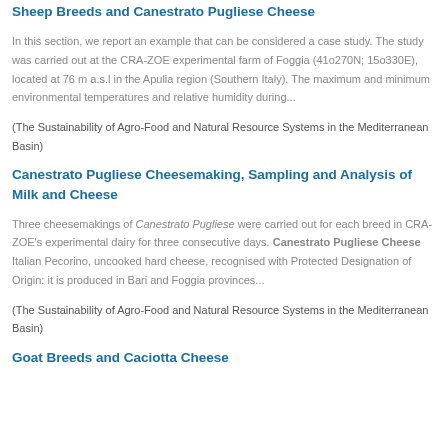Sheep Breeds and Canestrato Pugliese Cheese
In this section, we report an example that can be considered a case study. The study was carried out at the CRA-ZOE experimental farm of Foggia (41o270N; 15o330E), located at 76 m a.s.l in the Apulia region (Southern Italy). The maximum and minimum environmental temperatures and relative humidity during...
(The Sustainability of Agro-Food and Natural Resource Systems in the Mediterranean Basin)
Canestrato Pugliese Cheesemaking, Sampling and Analysis of Milk and Cheese
Three cheesemakings of Canestrato Pugliese were carried out for each breed in CRA-ZOE's experimental dairy for three consecutive days. Canestrato Pugliese Cheese Italian Pecorino, uncooked hard cheese, recognised with Protected Designation of Origin: it is produced in Bari and Foggia provinces...
(The Sustainability of Agro-Food and Natural Resource Systems in the Mediterranean Basin)
Goat Breeds and Caciotta Cheese